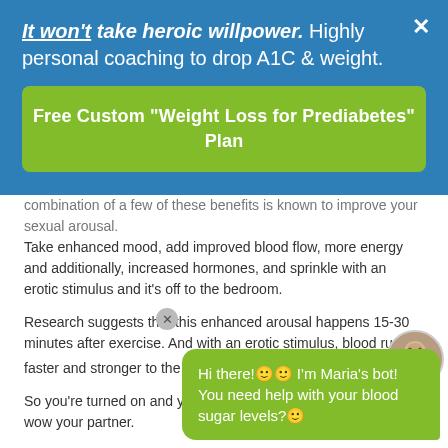It won't take heroic willpower. Highly personal coaching to drop A1C & weight.
[Figure (screenshot): Green call-to-action button reading 'Free Custom "Weight Loss for Prediabetes" Plan']
combination of a few of these benefits is known to improve your sexual arousal.
Take enhanced mood, add improved blood flow, more energy and additionally, increased hormones, and sprinkle with an erotic stimulus and it's off to the bedroom.
Research suggests that this enhanced arousal happens 15-30 minutes after exercise. And with an erotic stimulus, blood rushes faster and stronger to the genital areas increasing arousal.19, 20
So you're turned on and you... than that; exercise increas... wow your partner.
[Figure (screenshot): Chat bot bubble from Maria's bot saying: Hi there! I'm Maria's bot! You need help with your blood sugar levels? with avatar]